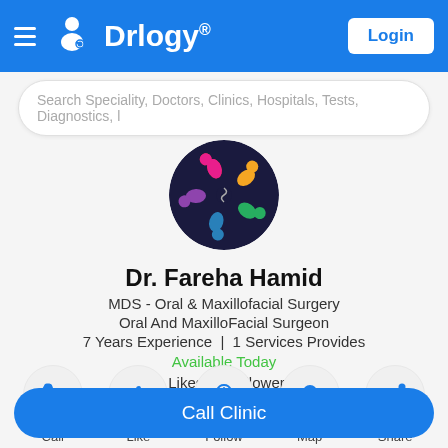Drlogy® Login
Search Speciality, Doctors, Clinics, Hospitals, Tests, Diagnostics, l
[Figure (logo): Drlogy clinic logo — colorful figures in a circle on dark background]
Dr. Fareha Hamid
MDS - Oral & Maxillofacial Surgery
Oral And MaxilloFacial Surgeon
7 Years Experience  |  1 Services Provides
Available Today
1 Likes | 0 Followers
Call  Like  Follow  Map  Share
Call Clinic